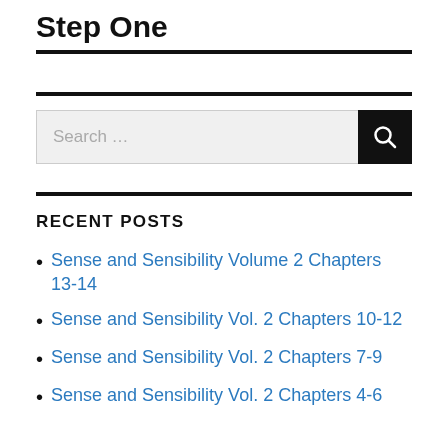Step One
RECENT POSTS
Sense and Sensibility Volume 2 Chapters 13-14
Sense and Sensibility Vol. 2 Chapters 10-12
Sense and Sensibility Vol. 2 Chapters 7-9
Sense and Sensibility Vol. 2 Chapters 4-6